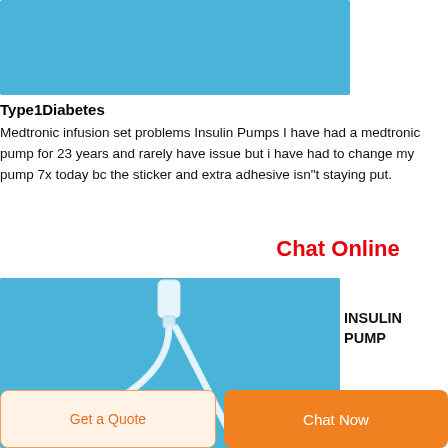[Figure (photo): Blue background image, top portion of insulin pump infusion set product photo]
Type1Diabetes
Medtronic infusion set problems Insulin Pumps I have had a medtronic pump for 23 years and rarely have issue but i have had to change my pump 7x today bc the sticker and extra adhesive isn"t staying put.
Chat Online
[Figure (photo): Insulin pump infusion set tubing and connector on blue background]
INSULIN PUMP
Get a Quote
Chat Now